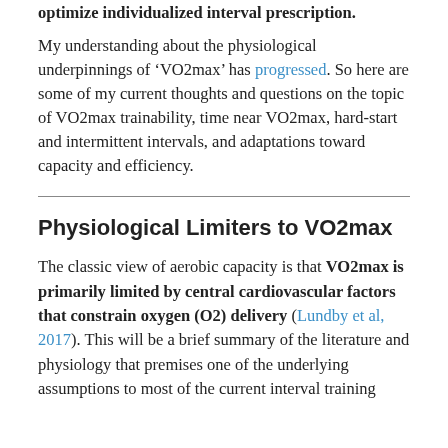optimize individualized interval prescription.
My understanding about the physiological underpinnings of ‘VO2max’ has progressed. So here are some of my current thoughts and questions on the topic of VO2max trainability, time near VO2max, hard-start and intermittent intervals, and adaptations toward capacity and efficiency.
Physiological Limiters to VO2max
The classic view of aerobic capacity is that VO2max is primarily limited by central cardiovascular factors that constrain oxygen (O2) delivery (Lundby et al, 2017). This will be a brief summary of the literature and physiology that premises one of the underlying assumptions to most of the current interval training